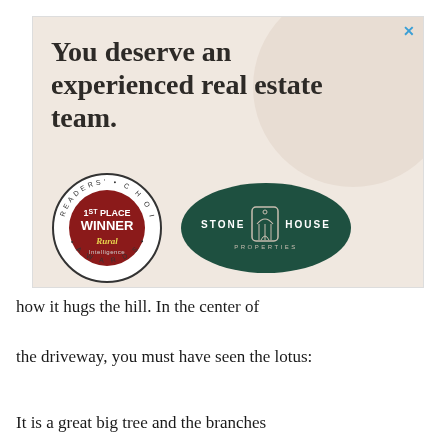[Figure (illustration): Advertisement banner for Stone House Properties real estate. Beige/tan background with large decorative circle. Headline: 'You deserve an experienced real estate team.' Two logos: a circular badge reading '1ST PLACE WINNER Rural Intelligence READERS' CHOICE AWARDS' and an oval dark green logo reading 'STONE HOUSE PROPERTIES' with a house icon.]
how it hugs the hill. In the center of
the driveway, you must have seen the lotus:
It is a great big tree and the branches